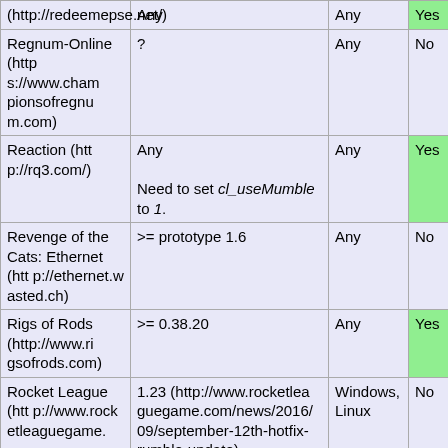| Game | Version | OS | Positional Audio |
| --- | --- | --- | --- |
| (http://redeemepse.net/) | Any | Any | Yes |
| Regnum-Online (https://www.championsofregnum.com) | ? | Any | No |
| Reaction (http://rq3.com/) | Any

Need to set cl_useMumble to 1. | Any | Yes |
| Revenge of the Cats: Ethernet (http://ethernet.wasted.ch) | >= prototype 1.6 | Any | No |
| Rigs of Rods (http://www.rigsofrods.com) | >= 0.38.20 | Any | Yes |
| Rocket League (http://www.rocketleaguegame.com) | 1.23 (http://www.rocketleaguegame.com/news/2016/09/september-12th-hotfix-rumble-update) | Windows, Linux | No |